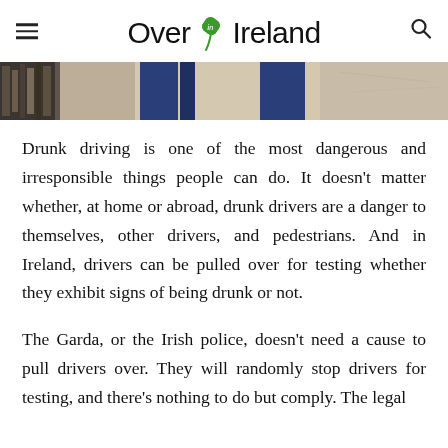Over in Ireland
[Figure (photo): Partial top section of a photo showing what appears to be a surface with blue objects and lighting, cropped at top of content area]
Drunk driving is one of the most dangerous and irresponsible things people can do. It doesn’t matter whether, at home or abroad, drunk drivers are a danger to themselves, other drivers, and pedestrians. And in Ireland, drivers can be pulled over for testing whether they exhibit signs of being drunk or not.
The Garda, or the Irish police, doesn’t need a cause to pull drivers over. They will randomly stop drivers for testing, and there’s nothing to do but comply. The legal